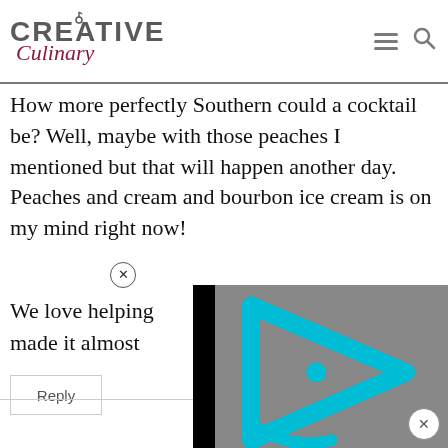Creative Culinary
How more perfectly Southern could a cocktail be? Well, maybe with those peaches I mentioned but that will happen another day. Peaches and cream and bourbon ice cream is on my mind right now!
We love helping made it almost
[Figure (screenshot): Video player overlay with cyan/teal play button logo on gray background with black borders]
Reply